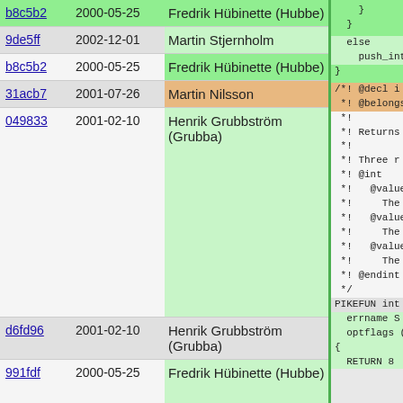| hash | date | author | code |
| --- | --- | --- | --- |
| b8c5b2 | 2000-05-25 | Fredrik Hübinette (Hubbe) |     }
  } |
| 9de5ff | 2002-12-01 | Martin Stjernholm |   else
    push_int |
| b8c5b2 | 2000-05-25 | Fredrik Hübinette (Hubbe) | } |
| 31acb7 | 2001-07-26 | Martin Nilsson | /*! @decl i
 *! @belongs |
| 049833 | 2001-02-10 | Henrik Grubbström (Grubba) | *!
 *! Returns
 *!
 *! Three r
 *! @int
 *!   @value
 *!     The
 *!   @value
 *!     The
 *!   @value
 *!     The
 *! @endint
 */ |
| d6fd96 | 2001-02-10 | Henrik Grubbström (Grubba) | PIKEFUN int |
| 991fdf | 2000-05-25 | Fredrik Hübinette (Hubbe) |   errname S
  optflags (
{
  RETURN 8 |